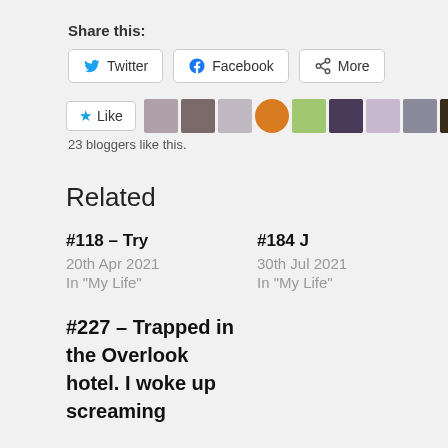Share this:
Twitter  Facebook  More
Like  23 bloggers like this.
Related
#118 – Try
20th Apr 2021
In "My Life"
#184 J
30th Jul 2021
In "My Life"
#227 – Trapped in the Overlook hotel. I woke up screaming